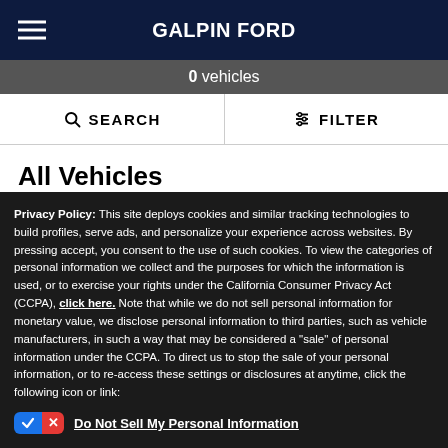GALPIN FORD
0 vehicles
SEARCH
FILTER
All Vehicles
Privacy Policy: This site deploys cookies and similar tracking technologies to build profiles, serve ads, and personalize your experience across websites. By pressing accept, you consent to the use of such cookies. To view the categories of personal information we collect and the purposes for which the information is used, or to exercise your rights under the California Consumer Privacy Act (CCPA), click here. Note that while we do not sell personal information for monetary value, we disclose personal information to third parties, such as vehicle manufacturers, in such a way that may be considered a "sale" of personal information under the CCPA. To direct us to stop the sale of your personal information, or to re-access these settings or disclosures at anytime, click the following icon or link:
Do Not Sell My Personal Information
Language: English
Powered by ComplyAuto
Accept and Continue →
California Privacy Disclosures